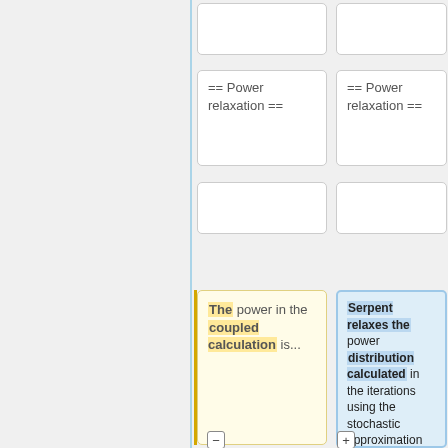== Power relaxation ==
== Power relaxation ==
The power in the coupled calculation is...
Serpent relaxes the power distribution calculated in the iterations using the stochastic approximation based method<ref>Dufek, J. and Gudowski, W. ""Stochastic Approximation for Monte Carlo Calculation of Steady-State Conditions in